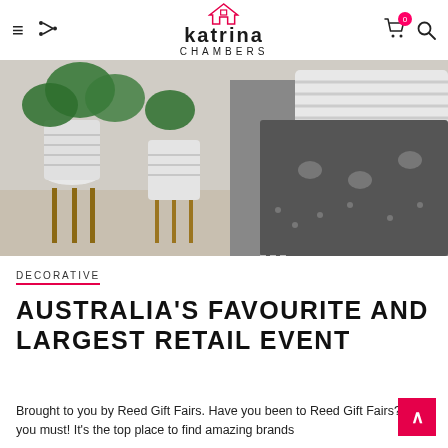katrina CHAMBERS
[Figure (photo): Home decor photo showing patterned ceramic plant pots on wooden stands with green tropical plant leaves on the left, and grey/white throw blankets and cushions with elephant and geometric patterns on the right.]
DECORATIVE
AUSTRALIA'S FAVOURITE AND LARGEST RETAIL EVENT
Brought to you by Reed Gift Fairs. Have you been to Reed Gift Fairs? Oh, you must! It's the top place to find amazing brands